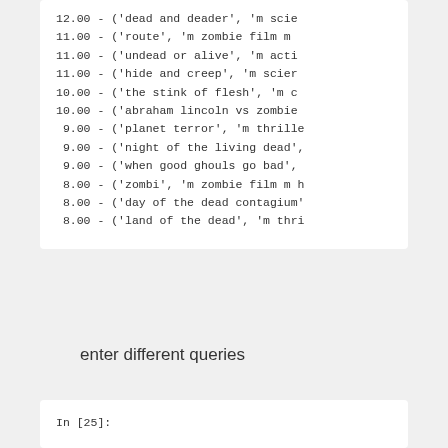12.00 - ('dead and deader', 'm scie
11.00 - ('route', 'm zombie film m
11.00 - ('undead or alive', 'm acti
11.00 - ('hide and creep', 'm scien
10.00 - ('the stink of flesh', 'm c
10.00 - ('abraham lincoln vs zombie
9.00 - ('planet terror', 'm thrille
9.00 - ('night of the living dead',
9.00 - ('when good ghouls go bad',
8.00 - ('zombi', 'm zombie film m h
8.00 - ('day of the dead contagium'
8.00 - ('land of the dead', 'm thri
enter different queries
In [25]: